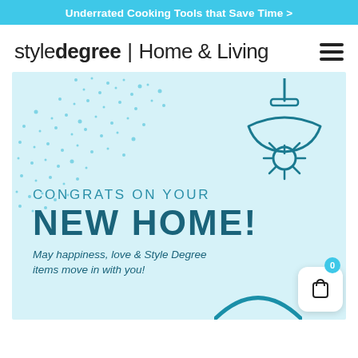Underrated Cooking Tools that Save Time >
styledegree | Home & Living
[Figure (illustration): Hero banner image with light blue background, decorative dot pattern in top-left, pendant lamp icon top-right, text reading CONGRATS ON YOUR NEW HOME!, tagline 'May happiness, love & Style Degree items move in with you!', partial arc decoration at bottom-right, and shopping cart overlay button with badge showing 0.]